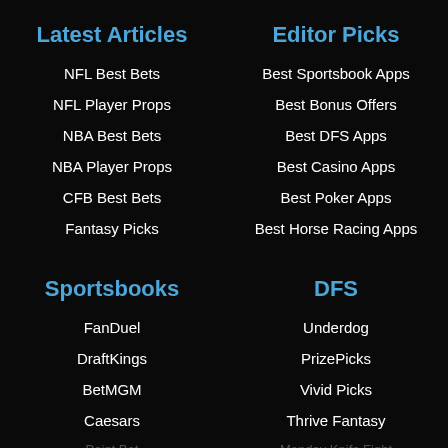Latest Articles
NFL Best Bets
NFL Player Props
NBA Best Bets
NBA Player Props
CFB Best Bets
Fantasy Picks
Editor Picks
Best Sportsbook Apps
Best Bonus Offers
Best DFS Apps
Best Casino Apps
Best Poker Apps
Best Horse Racing Apps
Sportsbooks
FanDuel
DraftKings
BetMGM
Caesars
DFS
Underdog
PrizePicks
Vivid Picks
Thrive Fantasy